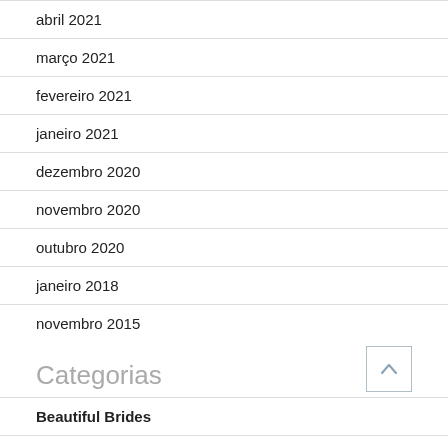abril 2021
março 2021
fevereiro 2021
janeiro 2021
dezembro 2020
novembro 2020
outubro 2020
janeiro 2018
novembro 2015
Categorias
Beautiful Brides
best dating sites for over 40
best meal delivery services
blog